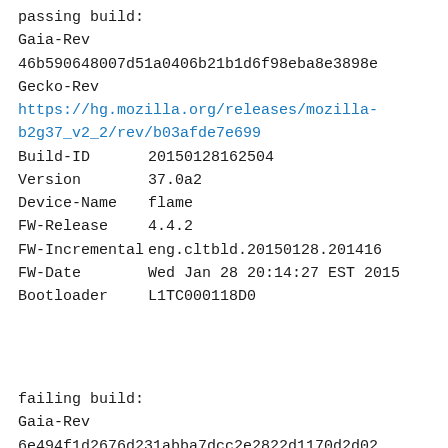passing build:
Gaia-Rev
46b590648007d51a0406b21b1d6f98eba8e3898e
Gecko-Rev
https://hg.mozilla.org/releases/mozilla-b2g37_v2_2/rev/b03afde7e699
Build-ID        20150128162504
Version         37.0a2
Device-Name     flame
FW-Release      4.4.2
FW-Incremental  eng.cltbld.20150128.201416
FW-Date         Wed Jan 28 20:14:27 EST 2015
Bootloader      L1TC000118D0
failing build:
Gaia-Rev
6e494f1d2676d231abba7dcc2e2822d1170d2d02
Gecko-Rev
https://hg.mozilla.org/releases/mozilla-b2g37_v2_2/rev/5e6fac01a72f
Build-ID        20150129002432